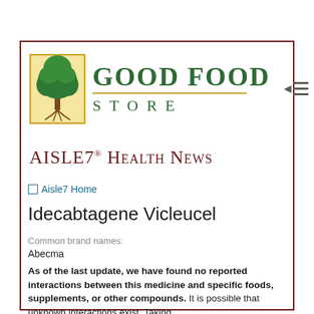[Figure (logo): Good Food Store logo with tree in yellow-bordered box and green serif text]
AISLE7® Health News
Aisle7 Home
Idecabtagene Vicleucel
Common brand names:
Abecma
As of the last update, we have found no reported interactions between this medicine and specific foods, supplements, or other compounds. It is possible that unknown interactions exist. Taking